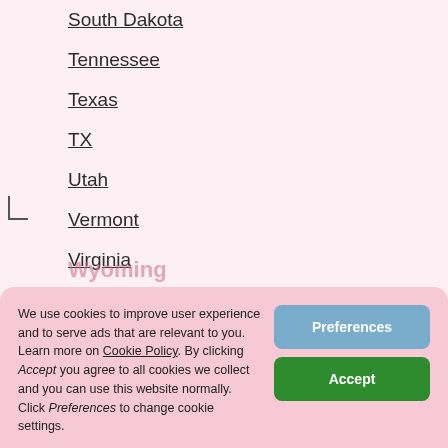South Dakota
Tennessee
Texas
TX
Utah
Vermont
Virginia
Washington
West Virginia
We use cookies to improve user experience and to serve ads that are relevant to you. Learn more on Cookie Policy. By clicking Accept you agree to all cookies we collect and you can use this website normally. Click Preferences to change cookie settings.